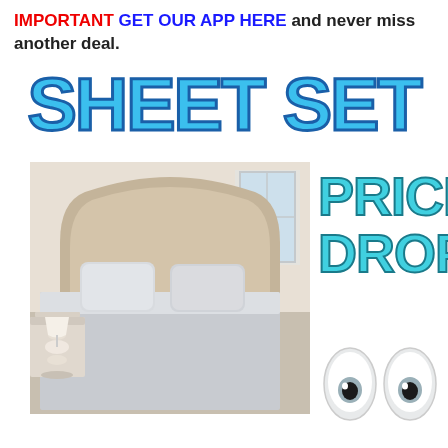IMPORTANT GET OUR APP HERE and never miss another deal.
SHEET SET
[Figure (photo): Photo of a neatly made bed with light grey/silver sheet set, upholstered headboard, white lamp on bedside table, near a window.]
PRICE DROP!
[Figure (illustration): Two cartoon wide eyes (googly eyes emoji style) side by side, white sclera with grey iris and black pupil, on white background.]